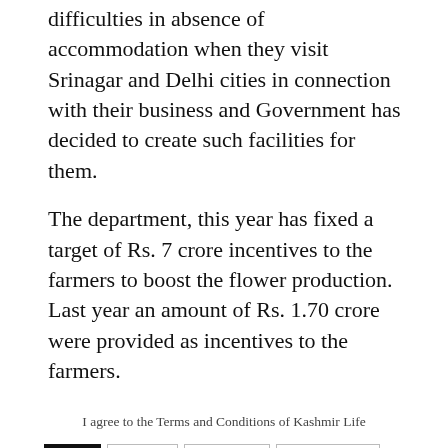difficulties in absence of accommodation when they visit Srinagar and Delhi cities in connection with their business and Government has decided to create such facilities for them.
The department, this year has fixed a target of Rs. 7 crore incentives to the farmers to boost the flower production. Last year an amount of Rs. 1.70 crore were provided as incentives to the farmers.
I agree to the Terms and Conditions of Kashmir Life
TAGS  Farmers  Floriculture  Flower Market  Jammu and Kashmir (J&K)  Kashmir  Kashmir life  Mandi  S S Salathia  Srinagar